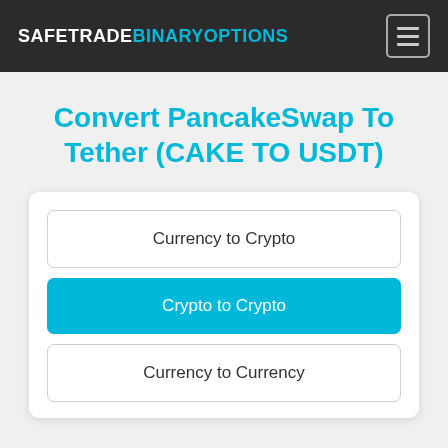SAFETRADEBINARYOPTIONS
Convert PancakeSwap To Tether (CAKE TO USDT)
Currency to Crypto
Crypto to Crypto
Currency to Currency